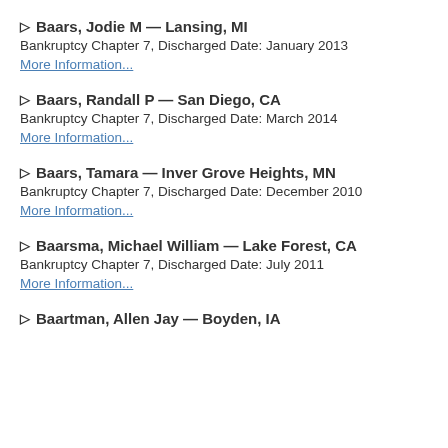▷ Baars, Jodie M — Lansing, MI
Bankruptcy Chapter 7, Discharged Date: January 2013
More Information...
▷ Baars, Randall P — San Diego, CA
Bankruptcy Chapter 7, Discharged Date: March 2014
More Information...
▷ Baars, Tamara — Inver Grove Heights, MN
Bankruptcy Chapter 7, Discharged Date: December 2010
More Information...
▷ Baarsma, Michael William — Lake Forest, CA
Bankruptcy Chapter 7, Discharged Date: July 2011
More Information...
▷ Baartman, Allen Jay — Boyden, IA